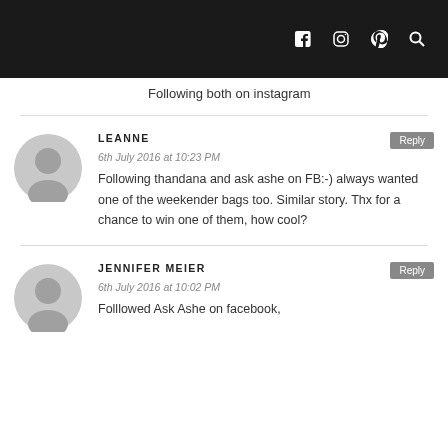icons: facebook, instagram, pinterest, search
Following both on instagram
LEANNE
6th July 2016 at 10:23 PM
Following thandana and ask ashe on FB:-) always wanted one of the weekender bags too. Similar story. Thx for a chance to win one of them, how cool?
JENNIFER MEIER
6th July 2016 at 10:02 PM
Folllowed Ask Ashe on facebook,